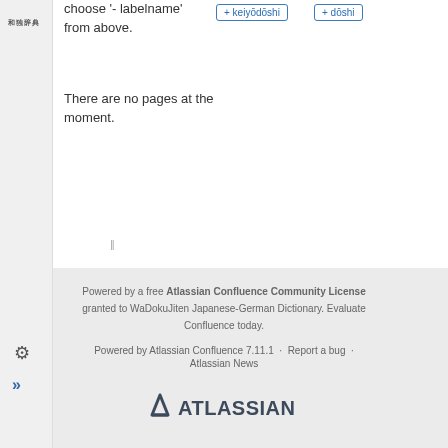choose '- labelname' from above.
+ keiyōdōshi
+ dōshi
There are no pages at the moment.
Powered by a free Atlassian Confluence Community License granted to WaDokuJiten Japanese-German Dictionary. Evaluate Confluence today.
Powered by Atlassian Confluence 7.11.1 · Report a bug · Atlassian News
[Figure (logo): Atlassian logo in dark grey with triangle icon]